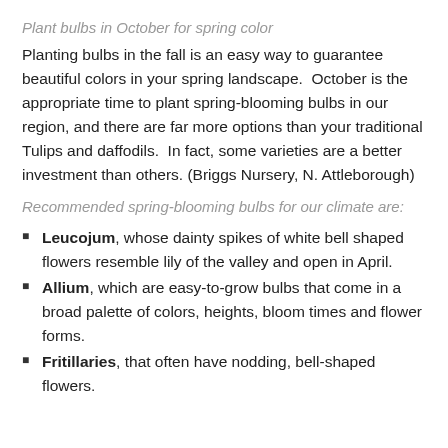Plant bulbs in October for spring color
Planting bulbs in the fall is an easy way to guarantee beautiful colors in your spring landscape.  October is the appropriate time to plant spring-blooming bulbs in our region, and there are far more options than your traditional Tulips and daffodils.  In fact, some varieties are a better investment than others. (Briggs Nursery, N. Attleborough)
Recommended spring-blooming bulbs for our climate are:
Leucojum, whose dainty spikes of white bell shaped flowers resemble lily of the valley and open in April.
Allium, which are easy-to-grow bulbs that come in a broad palette of colors, heights, bloom times and flower forms.
Fritillaries, that often have nodding, bell-shaped flowers.